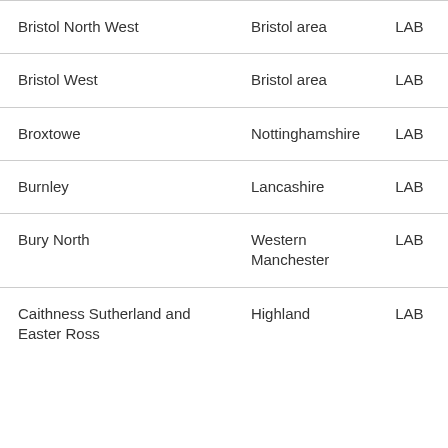| Bristol North West | Bristol area | LAB |
| Bristol West | Bristol area | LAB |
| Broxtowe | Nottinghamshire | LAB |
| Burnley | Lancashire | LAB |
| Bury North | Western Manchester | LAB |
| Caithness Sutherland and Easter Ross | Highland | LAB |